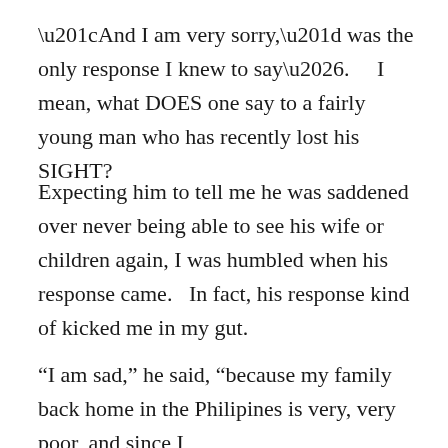“And I am very sorry,” was the only response I knew to say….    I mean, what DOES one say to a fairly young man who has recently lost his SIGHT?
Expecting him to tell me he was saddened over never being able to see his wife or children again, I was humbled when his response came.   In fact, his response kind of kicked me in my gut.
“I am sad,” he said, “because my family back home in the Philipines is very, very poor, and since I